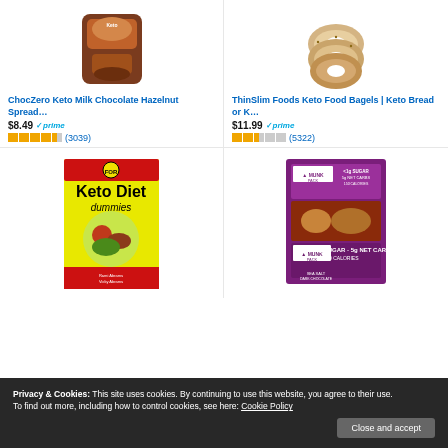[Figure (photo): ChocZero Keto Milk Chocolate Hazelnut Spread product image]
ChocZero Keto Milk Chocolate Hazelnut Spread…
$8.49 ✓prime ★★★★☆ (3039)
[Figure (photo): ThinSlim Foods Keto Food Bagels product image]
ThinSlim Foods Keto Food Bagels | Keto Bread or K…
$11.99 ✓prime ★★★☆☆ (5322)
[Figure (photo): Keto Diet Dummies book cover]
[Figure (photo): Munk Pack Keto Nut & Seed bars product image]
Privacy & Cookies: This site uses cookies. By continuing to use this website, you agree to their use. To find out more, including how to control cookies, see here: Cookie Policy
Close and accept